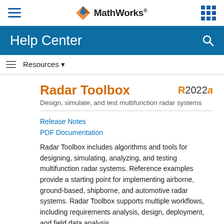MathWorks Help Center
Radar Toolbox
Design, simulate, and test multifunction radar systems
Release Notes
PDF Documentation
Radar Toolbox includes algorithms and tools for designing, simulating, analyzing, and testing multifunction radar systems. Reference examples provide a starting point for implementing airborne, ground-based, shipborne, and automotive radar systems. Radar Toolbox supports multiple workflows, including requirements analysis, design, deployment, and field data analysis.
You can perform link budget analysis and evaluate design trade-